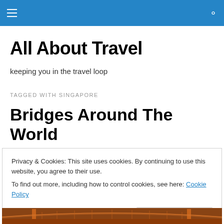All About Travel — navigation bar
All About Travel
keeping you in the travel loop
TAGGED WITH SINGAPORE
Bridges Around The World
Privacy & Cookies: This site uses cookies. By continuing to use this website, you agree to their use.
To find out more, including how to control cookies, see here: Cookie Policy
Close and accept
[Figure (photo): Bottom strip showing a bridge photograph, partial view — appears to be a suspension bridge with orange/brown tones]